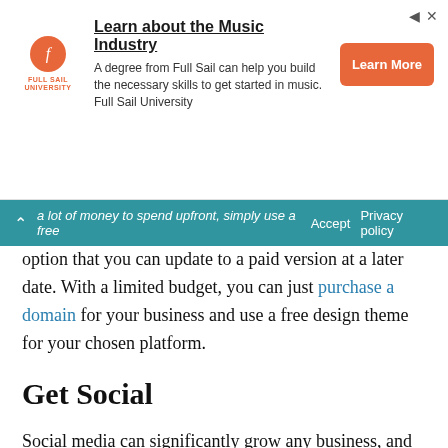[Figure (other): Full Sail University advertisement banner with orange logo circle, headline 'Learn about the Music Industry', body text about degree helping build necessary skills, and orange 'Learn More' button.]
a lot of money to spend upfront, simply use a free option that you can update to a paid version at a later date. With a limited budget, you can just purchase a domain for your business and use a free design theme for your chosen platform.
Get Social
Social media can significantly grow any business, and it can help you to get a new VA company off the ground. Rather than overwhelming yourself with multiple social platforms, concentrate on just one to start with. Instagram, Twitter, or Facebook tend to be the best options for a beginner. However, think about where your potential clients may hang out. If you're aiming to work